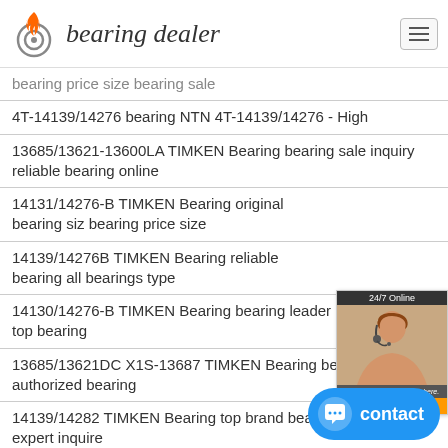bearing dealer
bearing price size bearing sale
4T-14139/14276 bearing NTN 4T-14139/14276 - High
13685/13621-13600LA TIMKEN Bearing bearing sale inquiry reliable bearing online
14131/14276-B TIMKEN Bearing original bearing siz bearing price size
14139/14276B TIMKEN Bearing reliable bearing all bearings type
14130/14276-B TIMKEN Bearing bearing leader top bearing
13685/13621DC X1S-13687 TIMKEN Bearing bearing agent authorized bearing
14139/14282 TIMKEN Bearing top brand bearing bearing expert inquire
EE134102D/134143 Y1S-134143 TIMKEN Bearing bearing price size global leader bearing
Timken 14131/14276D X1S-14131 Qatar Bearings Usa